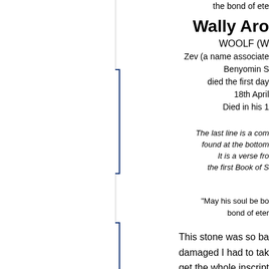the bond of et
Wally Aro
WOOLF (W
Zev (a name associated
Benyomin S
died the first day
18th April
Died in his 1
[Figure (photo): Photo of gravestone, partially visible with broken image icon]
The last line is a com
found at the bottom
It is a verse from
the first Book of S
"May his soul be bo
bond of eter
[Figure (photo): Second photo of damaged gravestone]
This stone was so ba damaged I had to tak get the whole inscript
[Figure (photo): Third photo of gravestone]
It was also badly clea